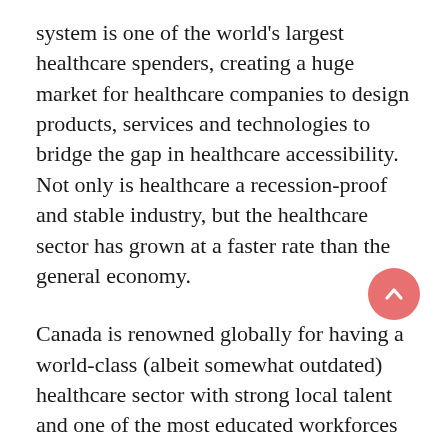system is one of the world's largest healthcare spenders, creating a huge market for healthcare companies to design products, services and technologies to bridge the gap in healthcare accessibility. Not only is healthcare a recession-proof and stable industry, but the healthcare sector has grown at a faster rate than the general economy.
Canada is renowned globally for having a world-class (albeit somewhat outdated) healthcare sector with strong local talent and one of the most educated workforces in the world. With our stable economic and political climate and advantageous exchange rate, Canada has become an attractive investment target in the healthcare space and beyond. The Province of Ontario has become a hub for technology innovation, with Toronto and beyond.